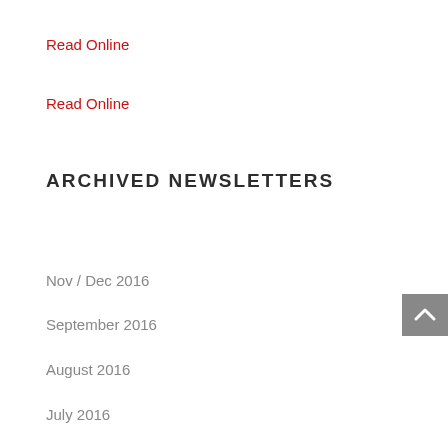Read Online
Read Online
ARCHIVED NEWSLETTERS
Nov / Dec 2016
September 2016
August 2016
July 2016